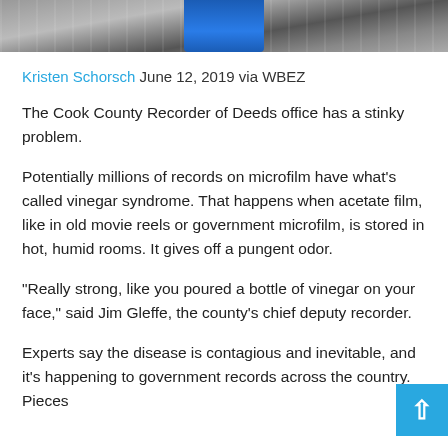[Figure (photo): Top strip showing a partial photograph of a person wearing a blue jacket, with shelves of records or boxes visible in the background.]
Kristen Schorsch June 12, 2019 via WBEZ
The Cook County Recorder of Deeds office has a stinky problem.
Potentially millions of records on microfilm have what's called vinegar syndrome. That happens when acetate film, like in old movie reels or government microfilm, is stored in hot, humid rooms. It gives off a pungent odor.
“Really strong, like you poured a bottle of vinegar on your face,” said Jim Gleffe, the county’s chief deputy recorder.
Experts say the disease is contagious and inevitable, and it’s happening to government records across the country. Pieces